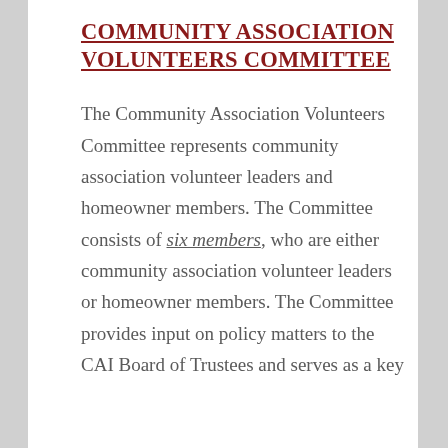COMMUNITY ASSOCIATION VOLUNTEERS COMMITTEE
The Community Association Volunteers Committee represents community association volunteer leaders and homeowner members. The Committee consists of six members, who are either community association volunteer leaders or homeowner members. The Committee provides input on policy matters to the CAI Board of Trustees and serves as a key